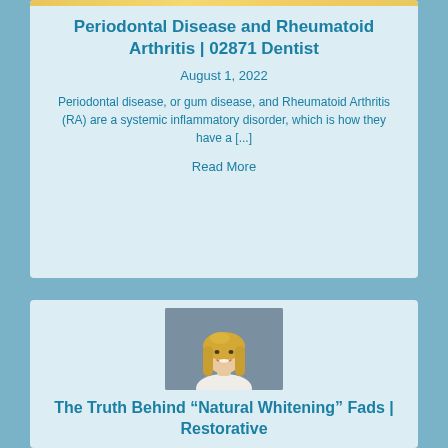[Figure (photo): Partial top image of a dental or health-related photo (cropped, showing yellow/gold hues at the top of the first card)]
Periodontal Disease and Rheumatoid Arthritis | 02871 Dentist
August 1, 2022
Periodontal disease, or gum disease, and Rheumatoid Arthritis (RA) are a systemic inflammatory disorder, which is how they have a [...]
Read More
[Figure (photo): Photo of a smiling blonde woman with long hair against a gray background]
The Truth Behind “Natural Whitening” Fads | Restorative